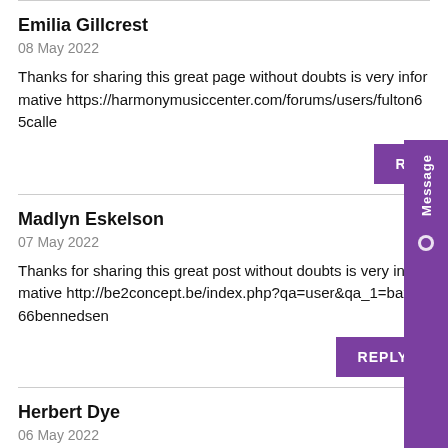Emilia Gillcrest
08 May 2022
Thanks for sharing this great page without doubts is very informative https://harmonymusiccenter.com/forums/users/fulton65calle
Madlyn Eskelson
07 May 2022
Thanks for sharing this great post without doubts is very informative http://be2concept.be/index.php?qa=user&qa_1=baxter66bennedsen
Herbert Dye
06 May 2022